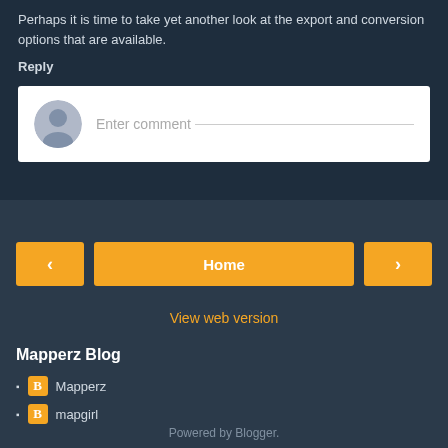Perhaps it is time to take yet another look at the export and conversion options that are available.
Reply
[Figure (screenshot): Comment input box with avatar icon and placeholder text 'Enter comment']
[Figure (screenshot): Navigation bar with left arrow button, Home button, and right arrow button]
View web version
Mapperz Blog
Mapperz
mapgirl
Powered by Blogger.